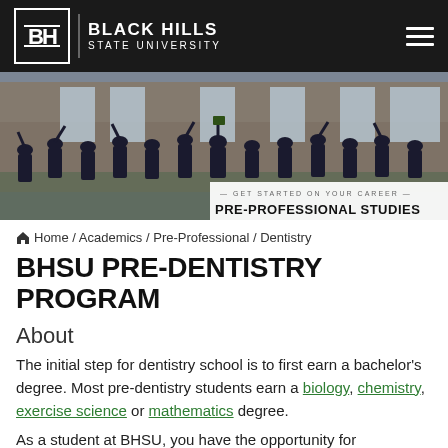BLACK HILLS STATE UNIVERSITY
[Figure (photo): Group of graduates in black caps and gowns celebrating outdoors in front of a brick building, with overlay text: GET STARTED ON YOUR CAREER — PRE-PROFESSIONAL STUDIES]
Home / Academics / Pre-Professional / Dentistry
BHSU PRE-DENTISTRY PROGRAM
About
The initial step for dentistry school is to first earn a bachelor's degree. Most pre-dentistry students earn a biology, chemistry, exercise science or mathematics degree.
As a student at BHSU, you have the opportunity for